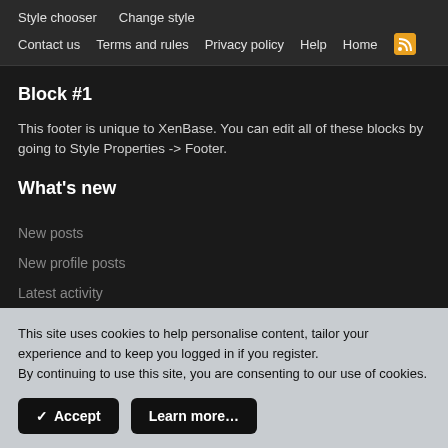Style chooser  Change style  Contact us  Terms and rules  Privacy policy  Help  Home
Block #1
This footer is unique to XenBase. You can edit all of these blocks by going to Style Properties -> Footer.
What's new
New posts
New profile posts
Latest activity
This site uses cookies to help personalise content, tailor your experience and to keep you logged in if you register.
By continuing to use this site, you are consenting to our use of cookies.